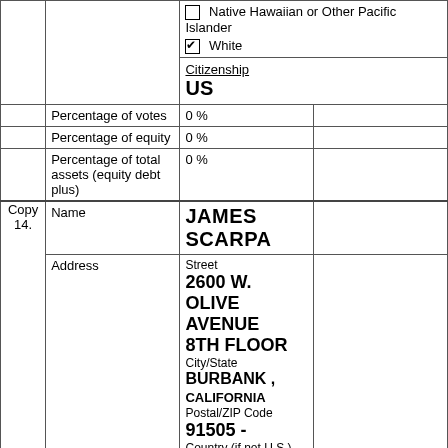|  |  | ☐ Native Hawaiian or Other Pacific Islander
☑ White
Citizenship (underlined)
US |  |
|  | Percentage of votes | 0 % |  |
|  | Percentage of equity | 0 % |  |
|  | Percentage of total assets (equity debt plus) | 0 % |  |
| Copy 14. | Name | JAMES SCARPA |  |
|  | Address | Street
2600 W. OLIVE AVENUE
8TH FLOOR
City/State
BURBANK , CALIFORNIA
Postal/ZIP Code
91505 -
Country (if not U.S.) |  |
|  | Listing Type | ○ Respondent
● Other Interest Holder |  |